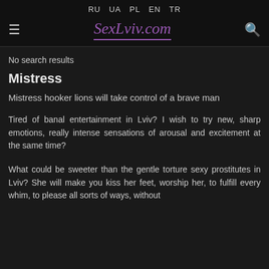RU UA PL EN TR | SexLviv.com
No search results
Mistress
Mistress hooker lions will take control of a brave man
Tired of banal entertainment in Lviv? I wish to try new, sharp emotions, really intense sensations of arousal and excitement at the same time?
What could be sweeter than the gentle torture sexy prostitutes in Lviv? She will make you kiss her feet, worship her, to fulfill every whim, to please all sorts of ways, without